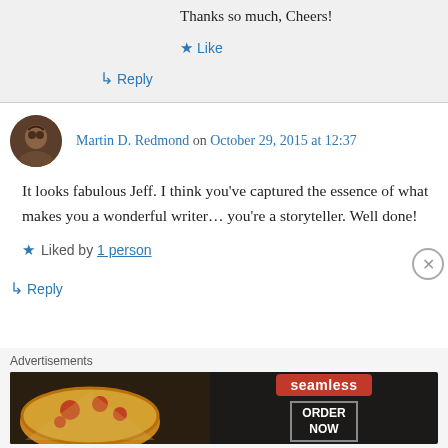Thanks so much, Cheers!
★ Like
↳ Reply
Martin D. Redmond on October 29, 2015 at 12:37
It looks fabulous Jeff. I think you've captured the essence of what makes you a wonderful writer… you're a storyteller. Well done!
★ Liked by 1 person
↳ Reply
[Figure (screenshot): Seamless food delivery advertisement banner with pizza image on left, seamless logo badge in red center, and ORDER NOW button on right]
Advertisements